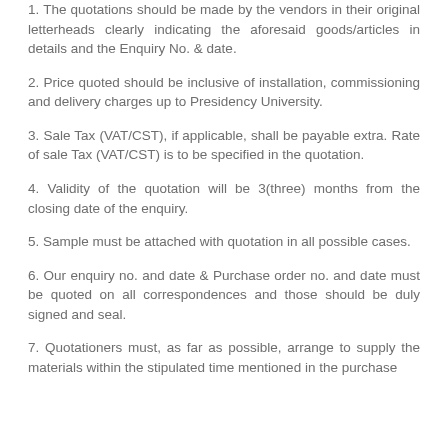1. The quotations should be made by the vendors in their original letterheads clearly indicating the aforesaid goods/articles in details and the Enquiry No. & date.
2. Price quoted should be inclusive of installation, commissioning and delivery charges up to Presidency University.
3. Sale Tax (VAT/CST), if applicable, shall be payable extra. Rate of sale Tax (VAT/CST) is to be specified in the quotation.
4. Validity of the quotation will be 3(three) months from the closing date of the enquiry.
5. Sample must be attached with quotation in all possible cases.
6. Our enquiry no. and date & Purchase order no. and date must be quoted on all correspondences and those should be duly signed and seal.
7. Quotationers must, as far as possible, arrange to supply the materials within the stipulated time mentioned in the purchase